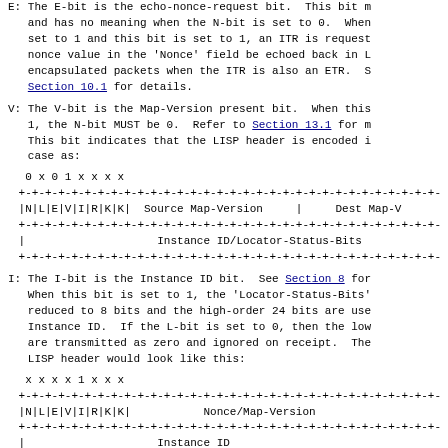E: The E-bit is the echo-nonce-request bit. This bit must be set to 1 and this bit is set to 1, an ITR is requesting that the nonce value in the 'Nonce' field be echoed back in LISP-encapsulated packets when the ITR is also an ETR. See Section 10.1 for details.
V: The V-bit is the Map-Version present bit. When this bit is set to 1, the N-bit MUST be 0. Refer to Section 13.1 for more details. This bit indicates that the LISP header is encoded in this case as:
0 x 0 1 x x x x
+-+-+-+-+-+-+-+-+-+-+-+-+-+-+-+-+-+-+-+-+-+-+-+-+-+-+-+-+-+-+-+-
|N|L|E|V|I|R|K|K|  Source Map-Version  |    Dest Map-V
+-+-+-+-+-+-+-+-+-+-+-+-+-+-+-+-+-+-+-+-+-+-+-+-+-+-+-+-+-+-+-+-
|                    Instance ID/Locator-Status-Bits
+-+-+-+-+-+-+-+-+-+-+-+-+-+-+-+-+-+-+-+-+-+-+-+-+-+-+-+-+-+-+-+-
I: The I-bit is the Instance ID bit. See Section 8 for details. When this bit is set to 1, the 'Locator-Status-Bits' field is reduced to 8 bits and the high-order 24 bits are used as an Instance ID. If the L-bit is set to 0, then the low-order 8 bits are transmitted as zero and ignored on receipt. The LISP header would look like this:
x x x x 1 x x x
+-+-+-+-+-+-+-+-+-+-+-+-+-+-+-+-+-+-+-+-+-+-+-+-+-+-+-+-+-+-+-+-
|N|L|E|V|I|R|K|K|           Nonce/Map-Version
+-+-+-+-+-+-+-+-+-+-+-+-+-+-+-+-+-+-+-+-+-+-+-+-+-+-+-+-+-+-+-+-
|                    Instance ID